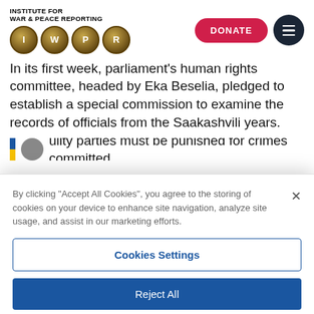[Figure (logo): Institute for War & Peace Reporting logo with IWPR letter circles in gold, plus Donate button and hamburger menu]
In its first week, parliament's human rights committee, headed by Eka Beselia, pledged to establish a special commission to examine the records of officials from the Saakashvili years.
Guilty parties must be punished for crimes committed
By clicking "Accept All Cookies", you agree to the storing of cookies on your device to enhance site navigation, analyze site usage, and assist in our marketing efforts.
Cookies Settings
Reject All
Accept All Cookies